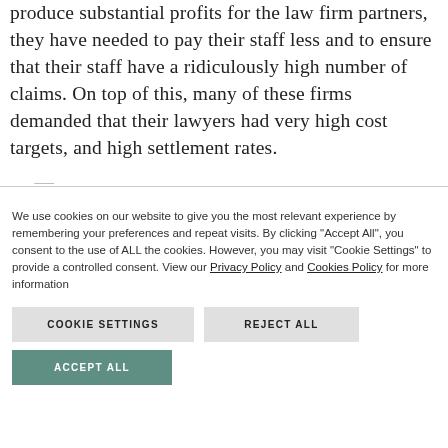produce substantial profits for the law firm partners, they have needed to pay their staff less and to ensure that their staff have a ridiculously high number of claims. On top of this, many of these firms demanded that their lawyers had very high cost targets, and high settlement rates.
We use cookies on our website to give you the most relevant experience by remembering your preferences and repeat visits. By clicking "Accept All", you consent to the use of ALL the cookies. However, you may visit "Cookie Settings" to provide a controlled consent. View our Privacy Policy and Cookies Policy for more information